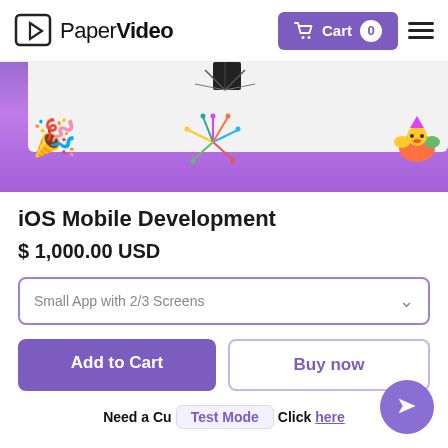PaperVideo — Cart 0
[Figure (illustration): Purple gradient banner with a white rounded card panel, party emoji sticker on the left, colorful fireworks sticker in the middle, colorful party character sticker on the right, and a small black rectangle decoration at the top center.]
iOS Mobile Development
$ 1,000.00 USD
Small App with 2/3 Screens
Add to Cart
Buy now
Need a Cu... Click here | Test Mode